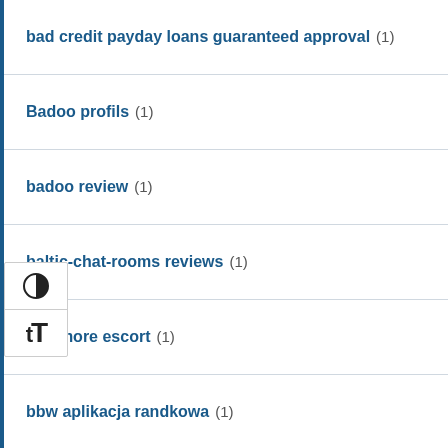bad credit payday loans guaranteed approval (1)
Badoo profils (1)
badoo review (1)
baltic-chat-rooms reviews (1)
baltimore escort (1)
bbw aplikacja randkowa (1)
bbw cupid sign in (1)
BBW Hookup dating (1)